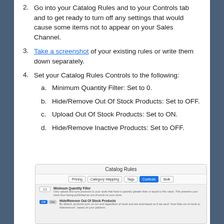2. Go into your Catalog Rules and to your Controls tab and to get ready to turn off any settings that would cause some items not to appear on your Sales Channel.
3. Take a screenshot of your existing rules or write them down separately.
4. Set your Catalog Rules Controls to the following:
  a. Minimum Quantity Filter: Set to 0.
  b. Hide/Remove Out Of Stock Products: Set to OFF.
  c. Upload Out Of Stock Products: Set to ON.
  d. Hide/Remove Inactive Products: Set to OFF.
[Figure (screenshot): Screenshot of Catalog Rules interface showing Controls tab selected, with settings for Minimum Quantity Filter (value 11) and Hide/Remove Out Of Stock Products (Off/On toggle)]